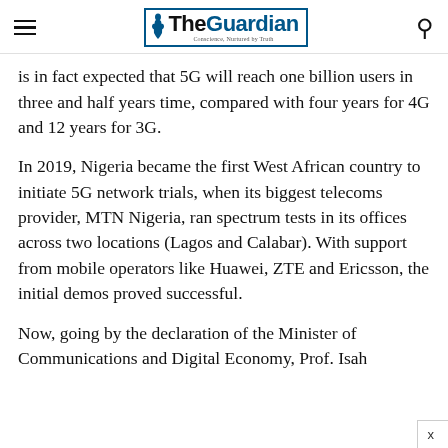The Guardian — Conscience, Nurtured by Truth
is in fact expected that 5G will reach one billion users in three and half years time, compared with four years for 4G and 12 years for 3G.
In 2019, Nigeria became the first West African country to initiate 5G network trials, when its biggest telecoms provider, MTN Nigeria, ran spectrum tests in its offices across two locations (Lagos and Calabar). With support from mobile operators like Huawei, ZTE and Ericsson, the initial demos proved successful.
Now, going by the declaration of the Minister of Communications and Digital Economy, Prof. Isah